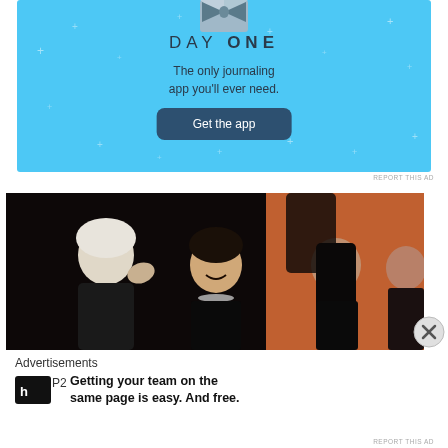[Figure (infographic): Day One journaling app advertisement with light blue background, bow-tie icon at top, 'DAY ONE' title, tagline 'The only journaling app you'll ever need.', and a dark blue 'Get the app' button. Decorative plus/star symbols scattered on background.]
REPORT THIS AD
[Figure (photo): Photo of three Asian women at what appears to be an event or party. Left: older woman with white hair gesturing. Center: young woman in black dress with necklace, laughing. Right: young woman in black outfit with long dark hair.]
Advertisements
[Figure (logo): P2 logo — black square with white 'h' letter followed by 'P2' text]
Getting your team on the same page is easy. And free.
REPORT THIS AD